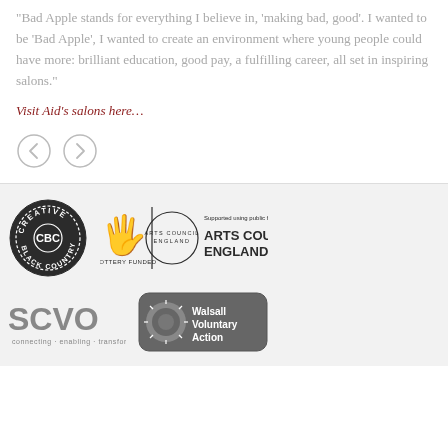“Bad Apple stands for everything I believe in, ‘making bad, good’. I wanted to be ‘Bad Apple’, I wanted to create an environment where young people could have more: brilliant education, good pay, a fulfilling career, all set in inspiring salons.”
Visit Aid’s salons here…
[Figure (illustration): Two circular navigation arrow buttons (previous and next), grey outlined circles with left and right arrow icons]
[Figure (logo): Creative Black Country (CBC) circular badge logo in dark grey/black]
[Figure (logo): Arts Council England Lottery Funded logo with national lottery hand symbol and Arts Council England text, including 'Supported using public funds' text]
[Figure (logo): SCVO logo in grey with tagline 'connecting · enabling · transforming']
[Figure (logo): Walsall Voluntary Action logo, grey rounded rectangle badge]